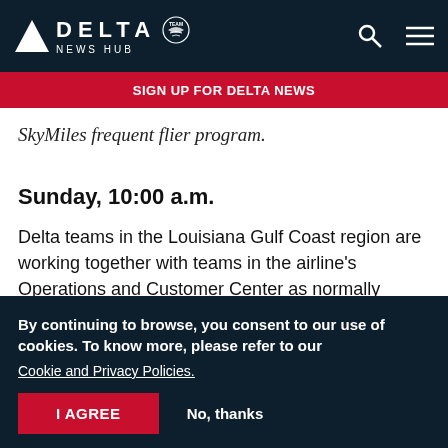DELTA NEWS HUB
SIGN UP FOR DELTA NEWS
SkyMiles frequent flier program.
Sunday, 10:00 a.m.
Delta teams in the Louisiana Gulf Coast region are working together with teams in the airline's Operations and Customer Center as normally
By continuing to browse, you consent to our use of cookies. To know more, please refer to our Cookie and Privacy Policies.
I AGREE   No, thanks